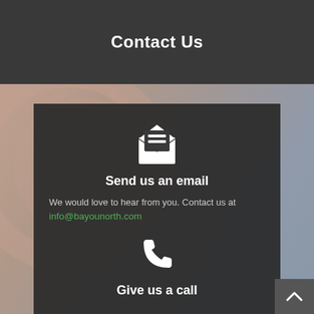Contact Us
[Figure (illustration): White envelope icon with letter/lines inside, open envelope style]
Send us an email
We would love to hear from you. Contact us at info@bayounorth.com
[Figure (illustration): White phone/telephone handset icon]
Give us a call